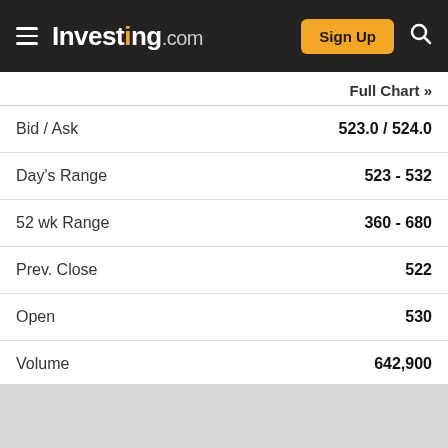Investing.com — Sign Up
Full Chart »
| Label | Value |
| --- | --- |
| Bid / Ask | 523.0 / 524.0 |
| Day's Range | 523 - 532 |
| 52 wk Range | 360 - 680 |
| Prev. Close | 522 |
| Open | 530 |
| Volume | 642,900 |
| Av. Volume (3m) | 1,437,044 |
| Market Cap | 47.67B |